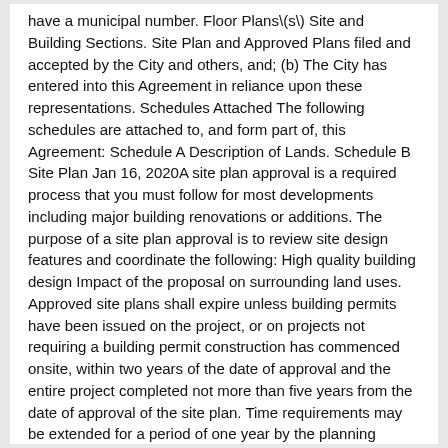have a municipal number. Floor Plans\(s\) Site and Building Sections. Site Plan and Approved Plans filed and accepted by the City and others, and; (b) The City has entered into this Agreement in reliance upon these representations. Schedules Attached The following schedules are attached to, and form part of, this Agreement: Schedule A Description of Lands. Schedule B Site Plan Jan 16, 2020A site plan approval is a required process that you must follow for most developments including major building renovations or additions. The purpose of a site plan approval is to review site design features and coordinate the following: High quality building design Impact of the proposal on surrounding land uses. Approved site plans shall expire unless building permits have been issued on the project, or on projects not requiring a building permit construction has commenced onsite, within two years of the date of approval and the entire project completed not more than five years from the date of approval of the site plan. Time requirements may be extended for a period of one year by the planning director through. A site plan is required for building permit applications. The purpose of the plan